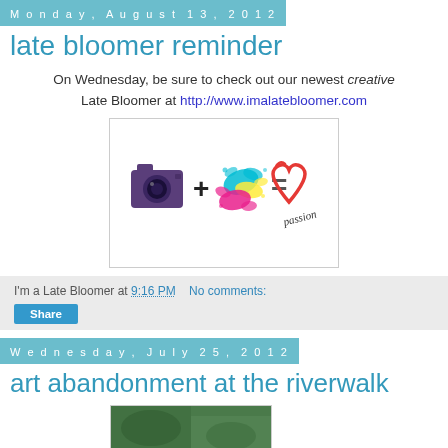Monday, August 13, 2012
late bloomer reminder
On Wednesday, be sure to check out our newest creative Late Bloomer at http://www.imalatebloomer.com
[Figure (illustration): Image showing a camera + colorful paint splash = heart with the word passion written in cursive]
I'm a Late Bloomer at 9:16 PM   No comments:
Share
Wednesday, July 25, 2012
art abandonment at the riverwalk
[Figure (photo): Partial photo visible at bottom of page]